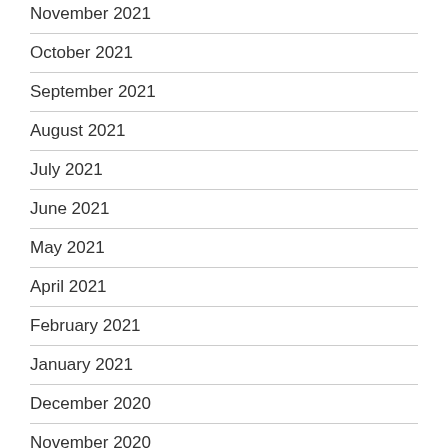November 2021
October 2021
September 2021
August 2021
July 2021
June 2021
May 2021
April 2021
February 2021
January 2021
December 2020
November 2020